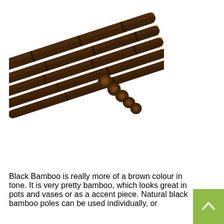[Figure (photo): A bundle of dark brown/black bamboo poles arranged diagonally, showing their cut ends. The poles are clustered together and photographed against a white background.]
Black Bamboo is really more of a brown colour in tone. It is very pretty bamboo, which looks great in pots and vases or as a accent piece. Natural black bamboo poles can be used individually, or